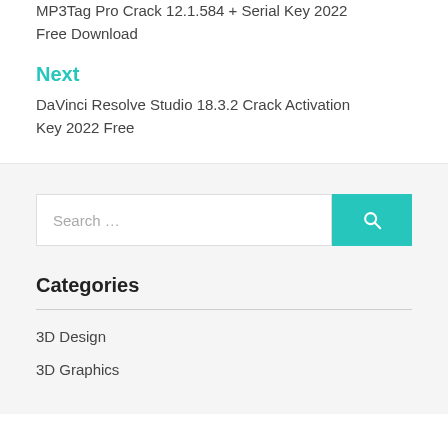MP3Tag Pro Crack 12.1.584 + Serial Key 2022 Free Download
Next
DaVinci Resolve Studio 18.3.2 Crack Activation Key 2022 Free
Search …
Categories
3D Design
3D Graphics